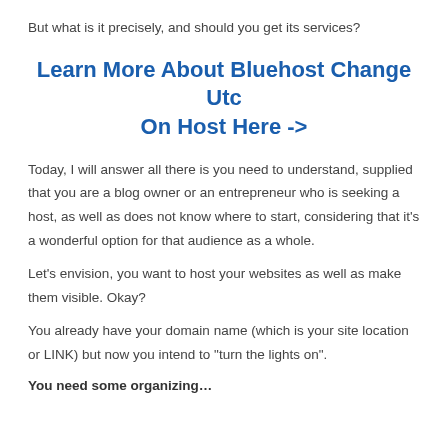But what is it precisely, and should you get its services?
Learn More About Bluehost Change Utc On Host Here ->
Today, I will answer all there is you need to understand, supplied that you are a blog owner or an entrepreneur who is seeking a host, as well as does not know where to start, considering that it’s a wonderful option for that audience as a whole.
Let’s envision, you want to host your websites as well as make them visible. Okay?
You already have your domain name (which is your site location or LINK) but now you intend to “turn the lights on”.
You need some organizing…